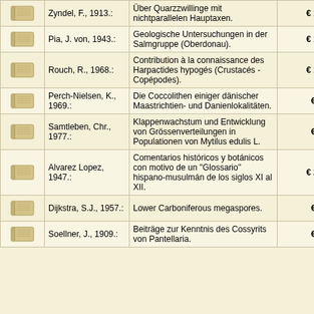| Icon | Author | Title | Price |
| --- | --- | --- | --- |
| [book] | Zyndel, F., 1913.: | Über Quarzzwillinge mit nichtparallelen Hauptaxen. | € 10.00 |
| [book] | Pia, J. von, 1943.: | Geologische Untersuchungen in der Salmgruppe (Oberdonau). | € 18.00 |
| [book] | Rouch, R., 1968.: | Contribution à la connaissance des Harpactides hypogés (Crustacés - Copépodes). | € 15.00 |
| [book] | Perch-Nielsen, K., 1969.: | Die Coccolithen einiger dänischer Maastrichtien- und Danienlokalitäten. | € 6.00 |
| [book] | Samtleben, Chr., 1977.: | Klappenwachstum und Entwicklung von Grössenverteilungen in Populationen von Mytilus edulis L. | € 5.00 |
| [book] | Alvarez Lopez, 1947.: | Comentarios históricos y botánicos con motivo de un "Glossario" hispano-musulmán de los siglos XI al XII. | € 20.00 |
| [book] | Dijkstra, S.J., 1957.: | Lower Carboniferous megaspores. | € 9.00 |
| [book] | Soellner, J., 1909.: | Beiträge zur Kenntnis des Cossyrits von Pantellaria. | € 6.00 |